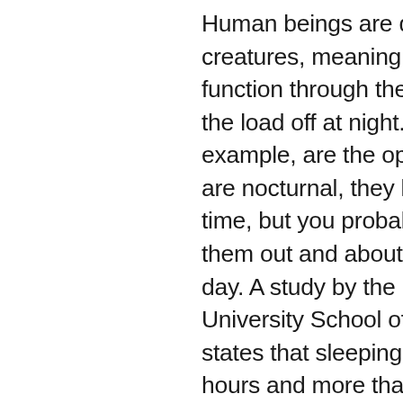Human beings are diurnal creatures, meaning we like to function through the day and take the load off at night. Owls, for example, are the opposite. They are nocturnal, they love the night time, but you probably won't see them out and about during the day. A study by the Boston University School of Medicine states that sleeping less than six hours and more than nine hours increased diabetes risk. They say between seven and eight hours is great! And what about naps? According to the National Association of Sleep (that sounds pretty credible, right?), a twenty to thirty minute nap is recommended. Sleeping and